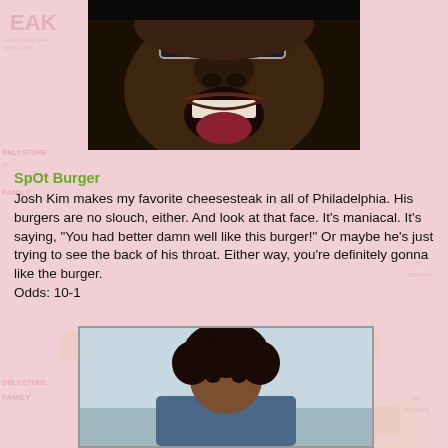[Figure (photo): Close-up photo of a man with mouth wide open, looking up at the camera, wearing glasses, dark background]
SpOt Burger
Josh Kim makes my favorite cheesesteak in all of Philadelphia. His burgers are no slouch, either. And look at that face. It's maniacal. It's saying, "You had better damn well like this burger!" Or maybe he's just trying to see the back of his throat. Either way, you're definitely gonna like the burger.
Odds: 10-1
[Figure (photo): Photo of a person with curly hair, partially visible, appearing at the bottom of the page]